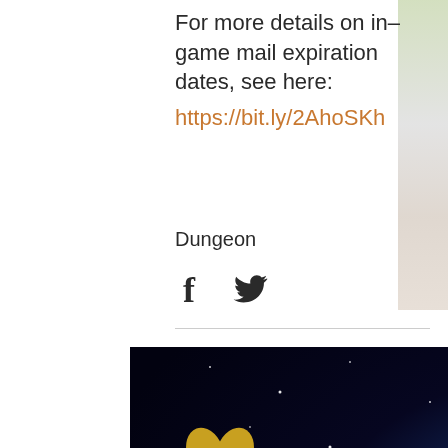For more details on in-game mail expiration dates, see here:
https://bit.ly/2AhoSKh
Dungeon
[Figure (illustration): Facebook and Twitter social share icons]
[Figure (illustration): GungHo Online Entertainment footer banner with logo, starfield background, game characters, copyright notice, and Terms of Service/Privacy Policy links]